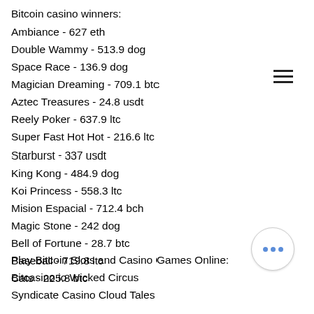Bitcoin casino winners:
Ambiance - 627 eth
Double Wammy - 513.9 dog
Space Race - 136.9 dog
Magician Dreaming - 709.1 btc
Aztec Treasures - 24.8 usdt
Reely Poker - 637.9 ltc
Super Fast Hot Hot - 216.6 ltc
Starburst - 337 usdt
King Kong - 484.9 dog
Koi Princess - 558.3 ltc
Mision Espacial - 712.4 bch
Magic Stone - 242 dog
Bell of Fortune - 28.7 btc
Baseball - 719.8 ltc
Cats - 225.8 btc
Play Bitcoin Slots and Casino Games Online:
Bitcasino.io Wicked Circus
Syndicate Casino Cloud Tales